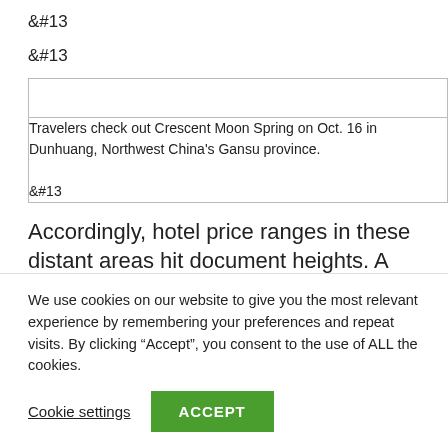&#13;
&#13;
|  |
| Travelers check out Crescent Moon Spring on Oct. 16 in Dunhuang, Northwest China's Gansu province.

&#13; |
Accordingly, hotel price ranges in these distant areas hit document heights. A night time in a twin
We use cookies on our website to give you the most relevant experience by remembering your preferences and repeat visits. By clicking “Accept”, you consent to the use of ALL the cookies.
Cookie settings
ACCEPT